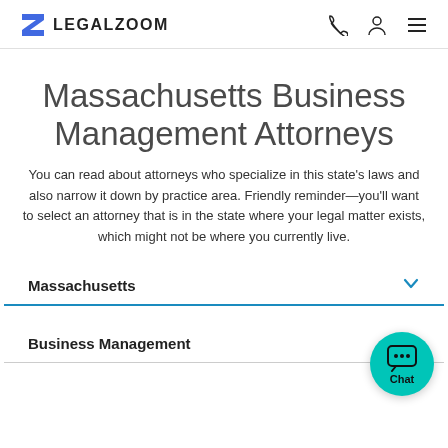LEGALZOOM
Massachusetts Business Management Attorneys
You can read about attorneys who specialize in this state's laws and also narrow it down by practice area. Friendly reminder—you'll want to select an attorney that is in the state where your legal matter exists, which might not be where you currently live.
Massachusetts
Business Management